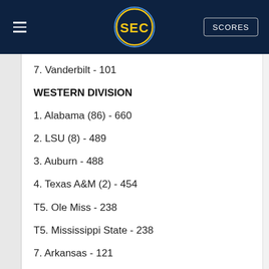SEC SCORES
7. Vanderbilt - 101
WESTERN DIVISION
1. Alabama (86) - 660
2. LSU (8) - 489
3. Auburn - 488
4. Texas A&M (2) - 454
T5. Ole Miss - 238
T5. Mississippi State - 238
7. Arkansas - 121
SEC CHAMPION
1. Alabama - 77